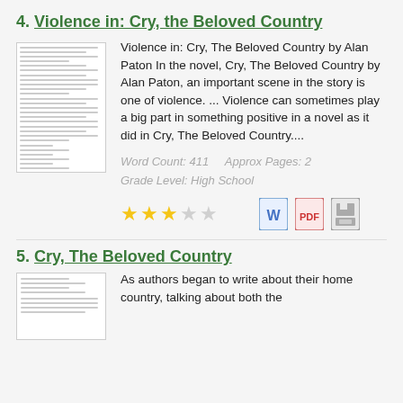4. Violence in: Cry, the Beloved Country
[Figure (illustration): Thumbnail preview of essay document about Violence in Cry, the Beloved Country]
Violence in: Cry, The Beloved Country by Alan Paton In the novel, Cry, The Beloved Country by Alan Paton, an important scene in the story is one of violence. ... Violence can sometimes play a big part in something positive in a novel as it did in Cry, The Beloved Country....
Word Count: 411     Approx Pages: 2
Grade Level: High School
[Figure (other): Three filled gold stars and two empty stars rating, plus Word document icon, PDF icon, and save/disk icon]
5. Cry, The Beloved Country
[Figure (illustration): Thumbnail preview of essay document about Cry, The Beloved Country]
As authors began to write about their home country, talking about both the